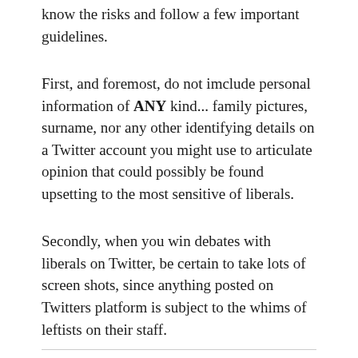know the risks and follow a few important guidelines.
First, and foremost, do not imclude personal information of ANY kind... family pictures, surname, nor any other identifying details on a Twitter account you might use to articulate opinion that could possibly be found upsetting to the most sensitive of liberals.
Secondly, when you win debates with liberals on Twitter, be certain to take lots of screen shots, since anything posted on Twitters platform is subject to the whims of leftists on their staff.